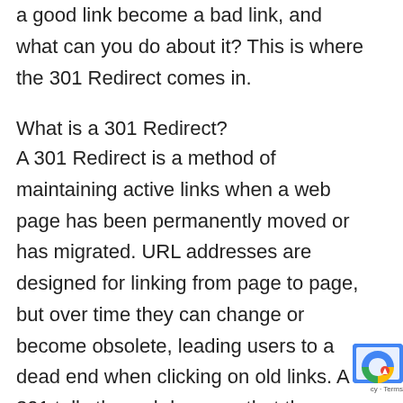a good link become a bad link, and what can you do about it? This is where the 301 Redirect comes in.
What is a 301 Redirect?
A 301 Redirect is a method of maintaining active links when a web page has been permanently moved or has migrated. URL addresses are designed for linking from page to page, but over time they can change or become obsolete, leading users to a dead end when clicking on old links. A 301 tells the web browser that the